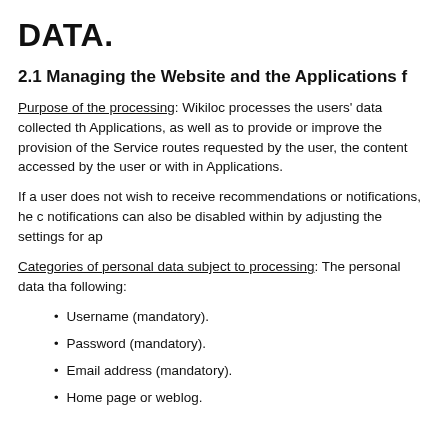DATA.
2.1 Managing the Website and the Applications f
Purpose of the processing: Wikiloc processes the users' data collected th Applications, as well as to provide or improve the provision of the Service routes requested by the user, the content accessed by the user or with in Applications.
If a user does not wish to receive recommendations or notifications, he c notifications can also be disabled within by adjusting the settings for ap
Categories of personal data subject to processing: The personal data tha following:
Username (mandatory).
Password (mandatory).
Email address (mandatory).
Home page or weblog.